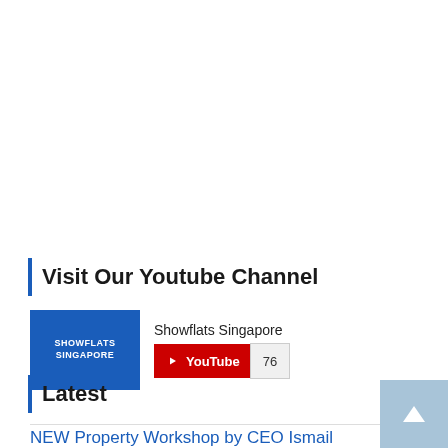Visit Our Youtube Channel
[Figure (screenshot): YouTube subscribe widget showing Showflats Singapore channel logo (blue square with SHOWFLATS SINGAPORE text) and a YouTube subscribe button with count of 76]
Latest
NEW Property Workshop by CEO Ismail Gafoor: Price of